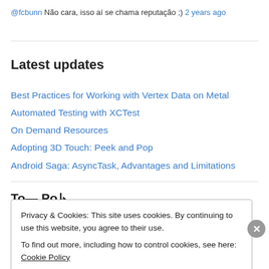@fcbunn Não cara, isso aí se chama reputação ;) 2 years ago
Latest updates
Best Practices for Working with Vertex Data on Metal
Automated Testing with XCTest
On Demand Resources
Adopting 3D Touch: Peek and Pop
Android Saga: AsyncTask, Advantages and Limitations
Privacy & Cookies: This site uses cookies. By continuing to use this website, you agree to their use.
To find out more, including how to control cookies, see here: Cookie Policy
Close and accept